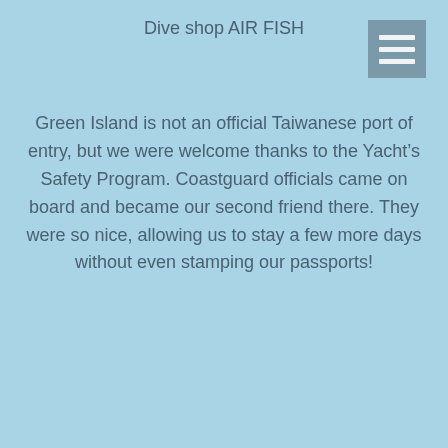Dive shop AIR FISH
Green Island is not an official Taiwanese port of entry, but we were welcome thanks to the Yacht’s Safety Program. Coastguard officials came on board and became our second friend there. They were so nice, allowing us to stay a few more days without even stamping our passports!